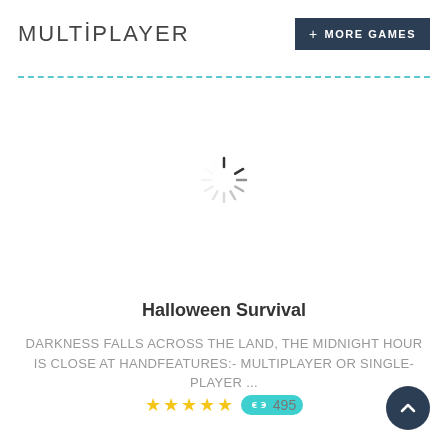MULTIPLAYER
+ MORE GAMES
[Figure (illustration): A loading spinner icon (rotating dashes in a circle) indicating content is loading]
Halloween Survival
DARKNESS FALLS ACROSS THE LAND, THE MIDNIGHT HOUR IS CLOSE AT HANDFeatures:- multiplayer or single-player ...
★★★★★ 495